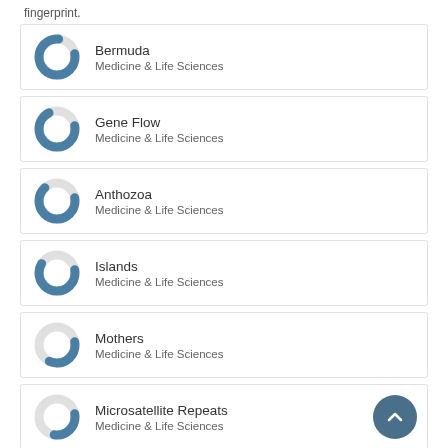fingerprint.
Bermuda - Medicine & Life Sciences
Gene Flow - Medicine & Life Sciences
Anthozoa - Medicine & Life Sciences
Islands - Medicine & Life Sciences
Mothers - Medicine & Life Sciences
Microsatellite Repeats - Medicine & Life Sciences